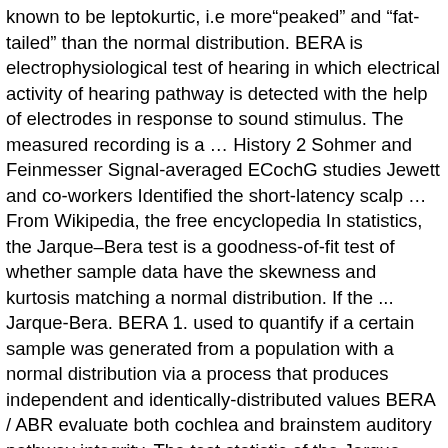known to be leptokurtic, i.e more“peaked” and “fat-tailed” than the normal distribution. BERA is electrophysiological test of hearing in which electrical activity of hearing pathway is detected with the help of electrodes in response to sound stimulus. The measured recording is a … History 2 Sohmer and Feinmesser Signal-averaged ECochG studies Jewett and co-workers Identified the short-latency scalp … From Wikipedia, the free encyclopedia In statistics, the Jarque–Bera test is a goodness-of-fit test of whether sample data have the skewness and kurtosis matching a normal distribution. If the ... Jarque-Bera. BERA 1. used to quantify if a certain sample was generated from a population with a normal distribution via a process that produces independent and identically-distributed values BERA / ABR evaluate both cochlea and brainstem auditory pathway integrity. The test statistic of the Jarque-Bera … JB = [n / 6] [2 2 If the data are not normal, use … (Acoustic schwannoma). • Electrode montage: most performed with a vertical montage (high forehead [active or positive], earlobes or mastoids [reference right & left or negative], low forehead